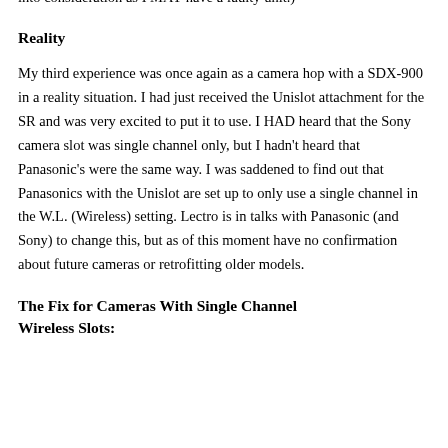were rock solid. (In talks with Lectrosonics, they have requested that I send my unit back for testing, so take some of my technical problems into consideration as I MAY have a faulty unit.)
Reality
My third experience was once again as a camera hop with a SDX-900 in a reality situation. I had just received the Unislot attachment for the SR and was very excited to put it to use. I HAD heard that the Sony camera slot was single channel only, but I hadn't heard that Panasonic's were the same way. I was saddened to find out that Panasonics with the Unislot are set up to only use a single channel in the W.L. (Wireless) setting. Lectro is in talks with Panasonic (and Sony) to change this, but as of this moment have no confirmation about future cameras or retrofitting older models.
The Fix for Cameras With Single Channel Wireless Slots: